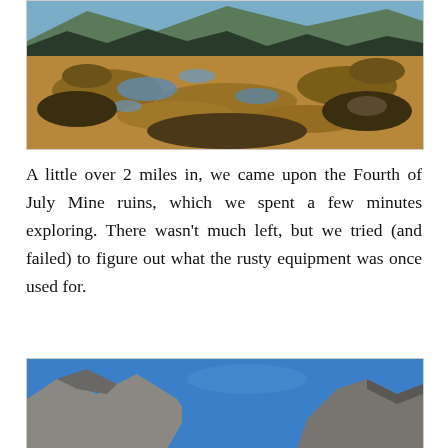[Figure (photo): Alpine meadow scene with patches of water/pond reflecting blue sky amid golden-brown grasses and dark vegetation, with trees and mountains in background.]
A little over 2 miles in, we came upon the Fourth of July Mine ruins, which we spent a few minutes exploring. There wasn't much left, but we tried (and failed) to figure out what the rusty equipment was once used for.
[Figure (photo): Rocky mountain peaks with bright blue sky; gray rocky crags visible on left and right sides with blue sky in between.]